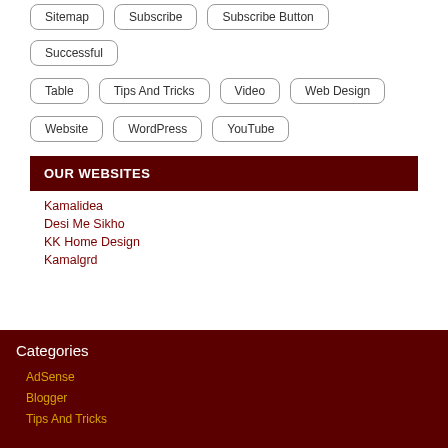Sitemap
Subscribe
Subscribe Button
Successful
Table
Tips And Tricks
Video
Web Design
Website
WordPress
YouTube
OUR WEBSITES
Kamalidea
Desi Me Sikho
KK Home Design
Kamalgrd
Categories
AdSense
Blogger
Tips And Tricks